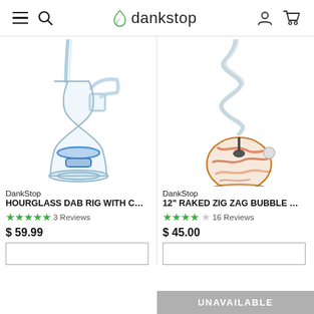dankstop
[Figure (photo): Glass hourglass dab rig with colored blue accents and a quartz banger attachment, photographed on white background]
DankStop
HOURGLASS DAB RIG WITH COL...
★★★★★ 3 Reviews
$ 59.99
[Figure (photo): 12 inch raked zig zag bubble base water pipe with orange/red swirled bubble base and zigzag neck, photographed on white background]
DankStop
12" RAKED ZIG ZAG BUBBLE BAS...
★★★★☆ 16 Reviews
$ 45.00
UNAVAILABLE